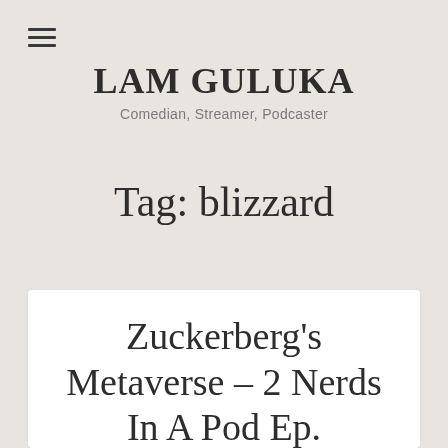≡
LAM GULUKA
Comedian, Streamer, Podcaster
Tag: blizzard
Zuckerberg's Metaverse – 2 Nerds In A Pod Ep.